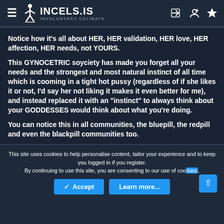INCELS.IS INVOLUNTARY CELIBATE
Notice how it's all about HER, HER validation, HER love, HER affection, HER needs, not YOURS.
This GYNOCETRIC soyciety has made you forget all your needs and the strongest and most natural instinct of all time which is cooming in a tight hot pussy (regardless of if she likes it or not, I'd say her not liking it makes it even better for me), and instead replaced it with an "instinct" to always think about your GODDESSES would think about what you're doing.
You can notice this in all communities, the bluepill, the redpill and even the blackpill communities too.
This site uses cookies to help personalise content, tailor your experience and to keep you logged in if you register. By continuing to use this site, you are consenting to our use of cookies.